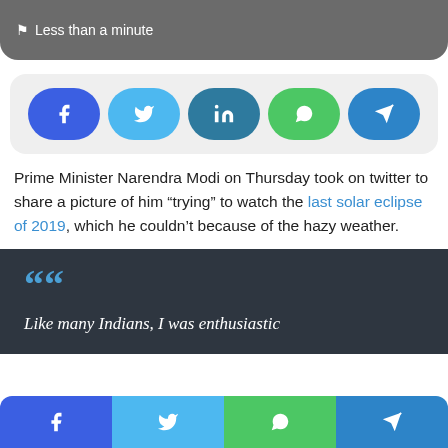Less than a minute
[Figure (infographic): Social share buttons: Facebook, Twitter, LinkedIn, WhatsApp, Telegram — rounded pill style on light gray background]
Prime Minister Narendra Modi on Thursday took on twitter to share a picture of him “trying” to watch the last solar eclipse of 2019, which he couldn’t because of the hazy weather.
““ Like many Indians, I was enthusiastic
[Figure (infographic): Bottom share bar with Facebook, Twitter, WhatsApp, Telegram buttons]